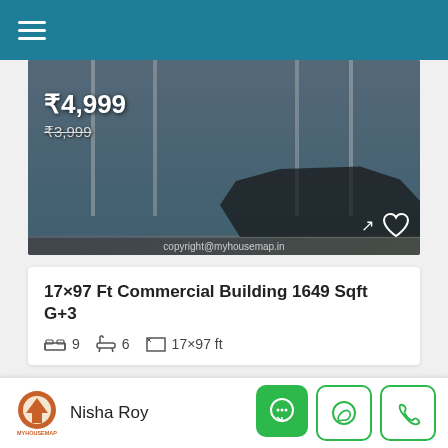Navigation bar with hamburger menu
[Figure (photo): Commercial building exterior render showing modern facade with glass panels, a dark SUV parked in front, overlaid with price ₹4,999 and strikethrough ₹3,999, copyright@myhousemap.in watermark]
17×97 Ft Commercial Building 1649 Sqft G+3
9 bedrooms, 6 bathrooms, 17×97 ft plot size
[Figure (photo): Building elevation/front view rendering showing white and terracotta-colored commercial building against blue sky, with MyHouseMap logo in white box on left]
Nisha Roy — contact via chat, WhatsApp, phone